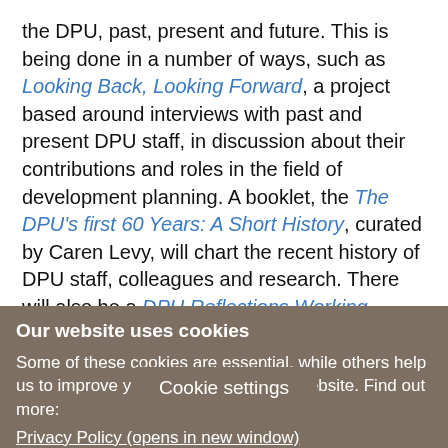the DPU, past, present and future. This is being done in a number of ways, such as Looking Back, Looking Forward, a project based around interviews with past and present DPU staff, in discussion about their contributions and roles in the field of development planning. A booklet, the The DPU's first 60 Years: A Short History, curated by Caren Levy, will chart the recent history of DPU staff, colleagues and research. There will also be a DPU Reflections Working Papers Series, with contributions from several former members of staff.
Cookie settings
Our website uses cookies
Some of these cookies are essential, while others help us to improve your experience of our website. Find out more: Privacy Policy (opens in new window)